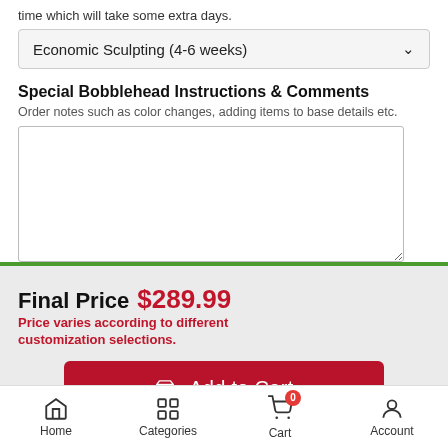time which will take some extra days.
Economic Sculpting (4-6 weeks)
Special Bobblehead Instructions & Comments
Order notes such as color changes, adding items to base details etc.
Final Price $289.99 Price varies according to different customization selections.
Add to Cart
Home   Categories   Cart   Account